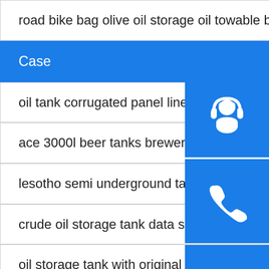road bike bag olive oil storage oil towable bladder tanks
Case
oil tank corrugated panel line for tran ormer
ace 3000l beer tanks brewery equipment beer v
lesotho semi underground tank chemical volum
crude oil storage tank data sheet price
oil storage tank with original factory price best quality
floating roof oil material stable
[Figure (illustration): Three blue square buttons on the right side: top has a customer service / headset icon, middle has a phone icon, bottom has a Skype (S) icon.]